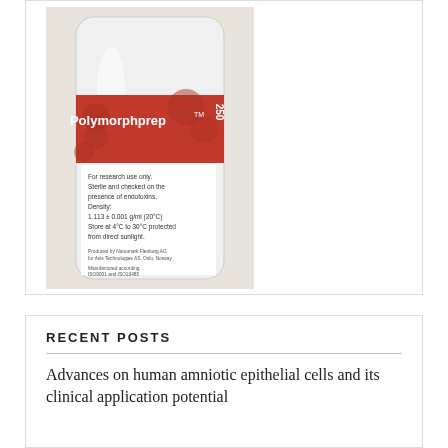[Figure (photo): A bottle of Polymorphprep™ reagent with a red label. Label text reads: 'Polymorphprep™', 'For research use only. Sterile and checked on the presence of endotoxins. Density: 1.113 ± 0.001 g/ml (20°C) Store at 4°C to 30°C protected from direct sunlight.' and smaller text at bottom about manufacturer.]
RECENT POSTS
Advances on human amniotic epithelial cells and its clinical application potential